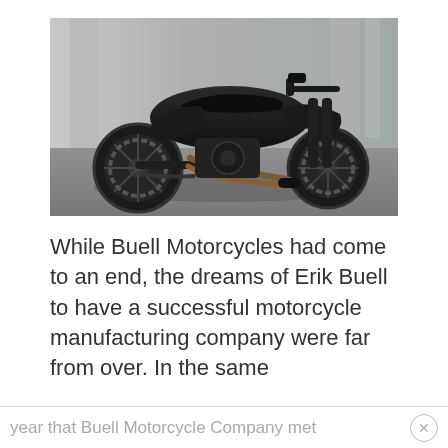[Figure (photo): A matte black custom motorcycle photographed from the side, with an aggressive low profile, exposed engine components, dual exhaust pipes, and spoke wheels. The background is a grey concrete setting.]
While Buell Motorcycles had come to an end, the dreams of Erik Buell to have a successful motorcycle manufacturing company were far from over. In the same year that Buell Motorcycle Company met